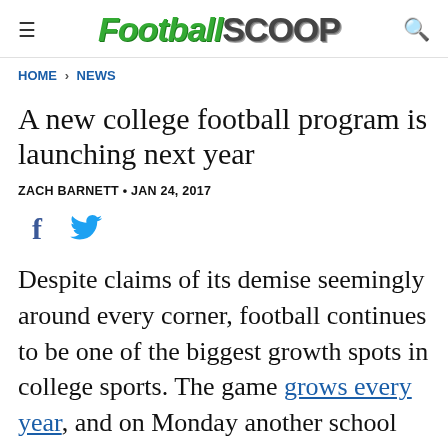FootballScoop
HOME › NEWS
A new college football program is launching next year
ZACH BARNETT • JAN 24, 2017
[Figure (infographic): Social share icons: Facebook (f) and Twitter (bird)]
Despite claims of its demise seemingly around every corner, football continues to be one of the biggest growth spots in college sports. The game grows every year, and on Monday another school joined the